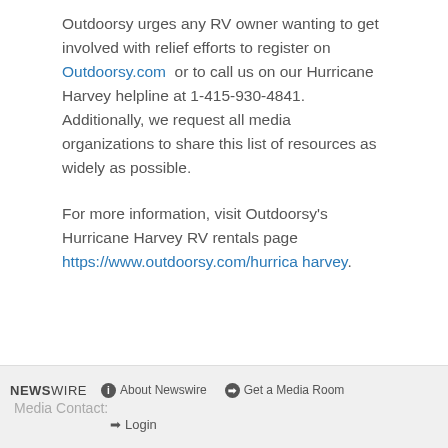Outdoorsy urges any RV owner wanting to get involved with relief efforts to register on Outdoorsy.com or to call us on our Hurricane Harvey helpline at 1-415-930-4841. Additionally, we request all media organizations to share this list of resources as widely as possible.
For more information, visit Outdoorsy's Hurricane Harvey RV rentals page https://www.outdoorsy.com/hurricaharvey.
NEWSWIRE | About Newswire | Get a Media Room | Media Contact: | Login